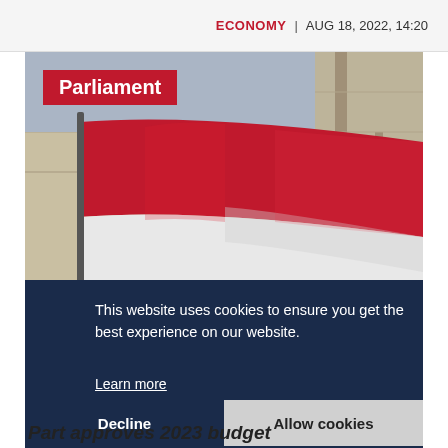ECONOMY | AUG 18, 2022, 14:20
[Figure (photo): Hungarian flag waving in front of an ornate stone building (Parliament), with a red 'Parliament' label overlay in the upper left of the image.]
This website uses cookies to ensure you get the best experience on our website.
Learn more
Decline
Allow cookies
Part approves 2023 budget